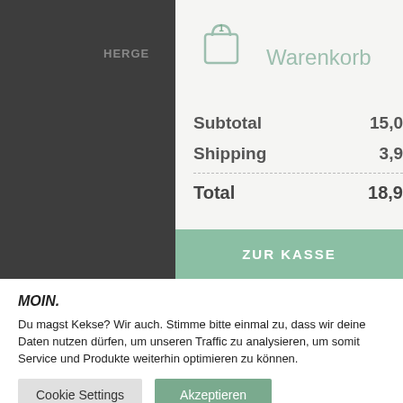[Figure (screenshot): Dark navigation panel on left with hamburger menu icon, light panel on right showing shopping cart (Warenkorb) with 1 item badge]
Warenkorb
| Label | Value |
| --- | --- |
| Subtotal | 15,0 |
| Shipping | 3,9 |
| Total | 18,9 |
ZUR KASSE
MOIN.
Du magst Kekse? Wir auch. Stimme bitte einmal zu, dass wir deine Daten nutzen dürfen, um unseren Traffic zu analysieren, um somit Service und Produkte weiterhin optimieren zu können.
Cookie Settings
Akzeptieren